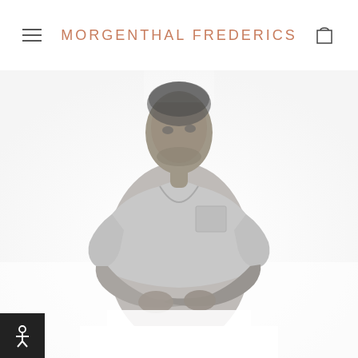MORGENTHAL FREDERICS
[Figure (photo): Black and white photograph of a man with arms crossed, wearing a v-neck t-shirt with a chest pocket, looking upward. The image fades into a white background toward the bottom.]